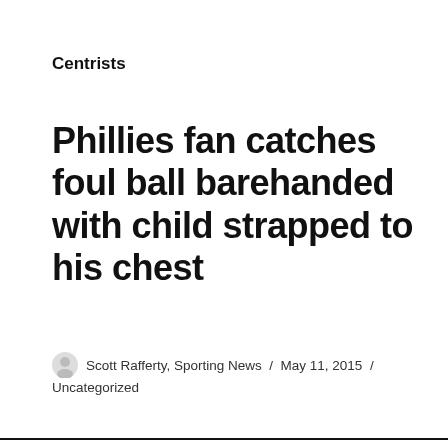Centrists
Phillies fan catches foul ball barehanded with child strapped to his chest
Scott Rafferty, Sporting News / May 11, 2015 / Uncategorized